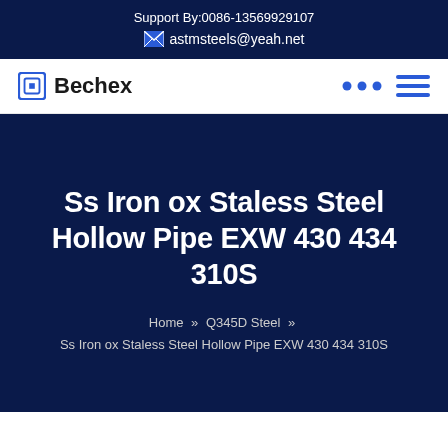Support By:0086-13569929107
astmsteels@yeah.net
[Figure (logo): Bechex company logo with square icon and bold text]
Ss Iron ox Staless Steel Hollow Pipe EXW 430 434 310S
Home » Q345D Steel » Ss Iron ox Staless Steel Hollow Pipe EXW 430 434 310S